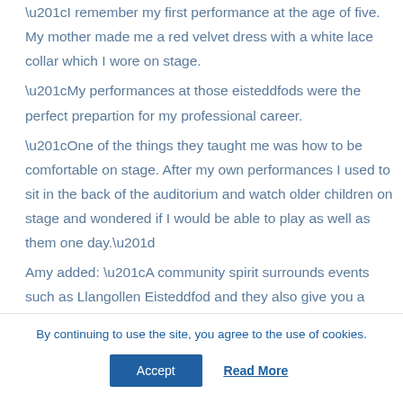“I remember my first performance at the age of five. My mother made me a red velvet dress with a white lace collar which I wore on stage. “My performances at those eisteddfods were the perfect prepartion for my professional career. “One of the things they taught me was how to be comfortable on stage. After my own performances I used to sit in the back of the auditorium and watch older children on stage and wondered if I would be able to play as well as them one day.” Amy added: “A community spirit surrounds events such as Llangollen Eisteddfod and they also give you a great sense of purpose as a musician, which is not
By continuing to use the site, you agree to the use of cookies.